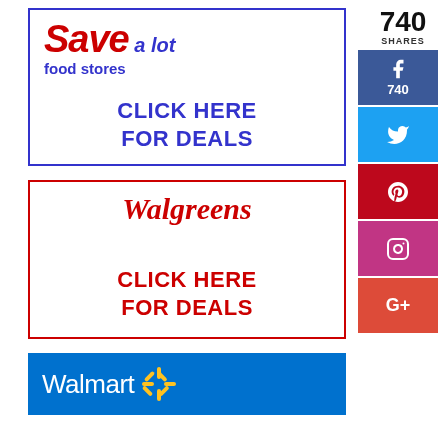[Figure (logo): Save A Lot food stores logo with CLICK HERE FOR DEALS text in blue bordered box]
[Figure (logo): Walgreens logo with CLICK HERE FOR DEALS text in red bordered box]
[Figure (logo): Walmart logo on blue background, partially visible]
740 SHARES
[Figure (infographic): Social media share buttons: Facebook (740), Twitter, Pinterest, Instagram, Google+]